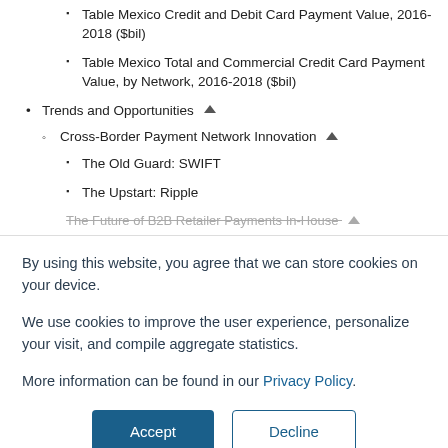Table Mexico Credit and Debit Card Payment Value, 2016-2018 ($bil)
Table Mexico Total and Commercial Credit Card Payment Value, by Network, 2016-2018 ($bil)
Trends and Opportunities ▲
Cross-Border Payment Network Innovation ▲
The Old Guard: SWIFT
The Upstart: Ripple
By using this website, you agree that we can store cookies on your device.

We use cookies to improve the user experience, personalize your visit, and compile aggregate statistics.

More information can be found in our Privacy Policy.